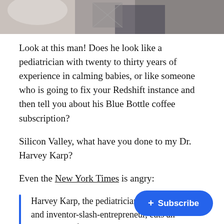[Figure (photo): Cropped photo of a person, showing lower body/clothing, used as a header image strip]
Look at this man! Does he look like a pediatrician with twenty to thirty years of experience in calming babies, or like someone who is going to fix your Redshift instance and then tell you about his Blue Bottle coffee subscription?
Silicon Valley, what have you done to my Dr. Harvey Karp?
Even the New York Times is angry:
Harvey Karp, the pediatrician, parenting expert and inventor-slash-entrepreneur, cuts an unimposing figure. Lean and agile, with wispy rimmed glasses and a bounce in h... like the Angeleno he has become and deadpans like